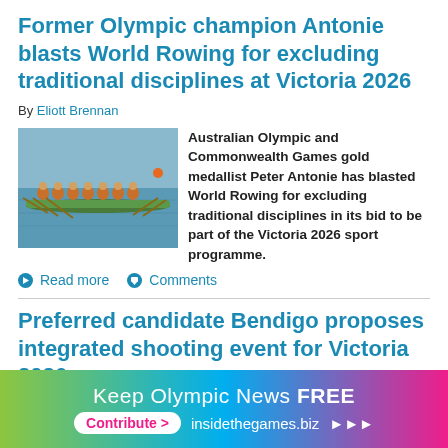Former Olympic champion Antonie blasts World Rowing for excluding traditional disciplines at Victoria 2026
By Eliott Brennan
[Figure (photo): Rowing team competing on water, multiple rowers in a long boat]
Australian Olympic and Commonwealth Games gold medallist Peter Antonie has blasted World Rowing for excluding traditional disciplines in its bid to be part of the Victoria 2026 sport programme.
Read more  Comments
Preferred candidate Bendigo proposes integrated shooting event for Victoria 2026
Keep Olympic News FREE Contribute > insidethegames.biz >>>